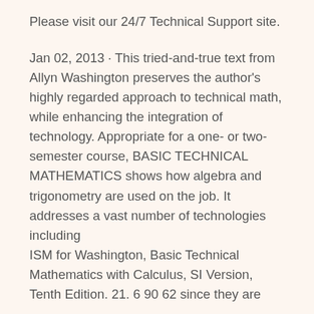Please visit our 24/7 Technical Support site.
Jan 02, 2013 · This tried-and-true text from Allyn Washington preserves the author's highly regarded approach to technical math, while enhancing the integration of technology. Appropriate for a one- or two-semester course, BASIC TECHNICAL MATHEMATICS shows how algebra and trigonometry are used on the job. It addresses a vast number of technologies including
ISM for Washington, Basic Technical Mathematics with Calculus, SI Version, Tenth Edition. 21. 6 90 62 since they are